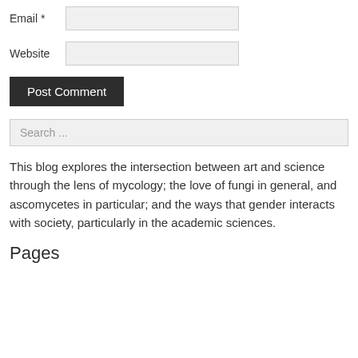Email *
Website
Post Comment
Search ...
This blog explores the intersection between art and science through the lens of mycology; the love of fungi in general, and ascomycetes in particular; and the ways that gender interacts with society, particularly in the academic sciences.
Pages